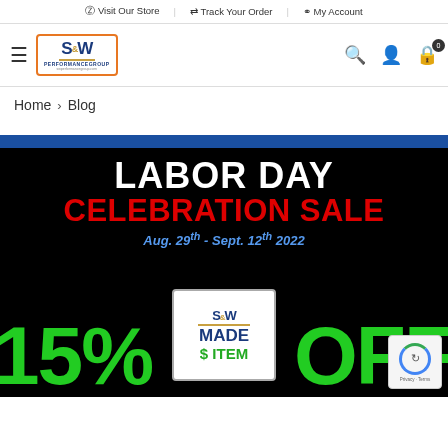Visit Our Store | Track Your Order | My Account
[Figure (logo): S&W Performance Group logo with orange border]
Home > Blog
[Figure (infographic): Labor Day Celebration Sale banner: Aug. 29th - Sept. 12th 2022, 15% OFF S&W Made $ Item]